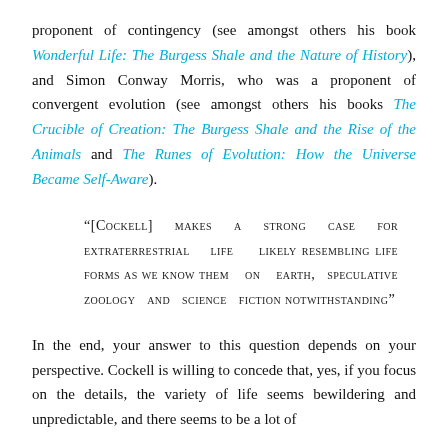proponent of contingency (see amongst others his book Wonderful Life: The Burgess Shale and the Nature of History), and Simon Conway Morris, who was a proponent of convergent evolution (see amongst others his books The Crucible of Creation: The Burgess Shale and the Rise of the Animals and The Runes of Evolution: How the Universe Became Self-Aware).
“[Cockell] makes a strong case for extraterrestrial life likely resembling life forms as we know them on earth, speculative zoology and science fiction notwithstanding”
In the end, your answer to this question depends on your perspective. Cockell is willing to concede that, yes, if you focus on the details, the variety of life seems bewildering and unpredictable, and there seems to be a lot of